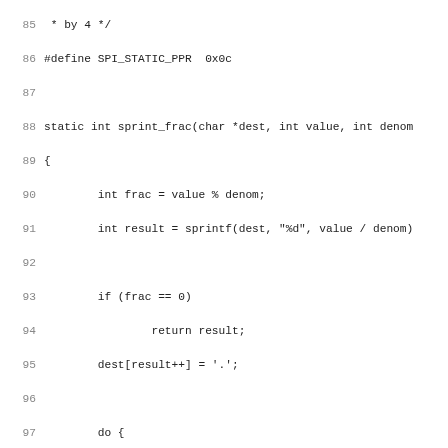Source code listing lines 85-116, C programming language. Shows sprint_frac function and beginning of spi_execute function.